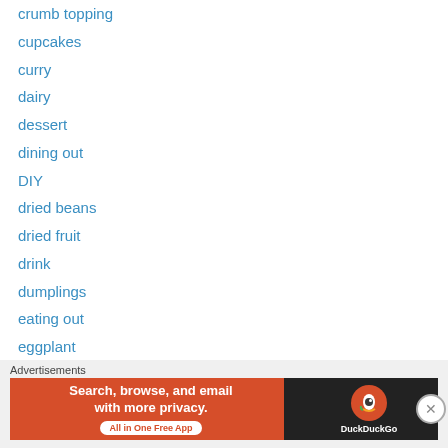crumb topping
cupcakes
curry
dairy
dessert
dining out
DIY
dried beans
dried fruit
drink
dumplings
eating out
eggplant
eggs
english muffins
entree
fish
Advertisements
[Figure (other): DuckDuckGo advertisement banner: Search, browse, and email with more privacy. All in One Free App]